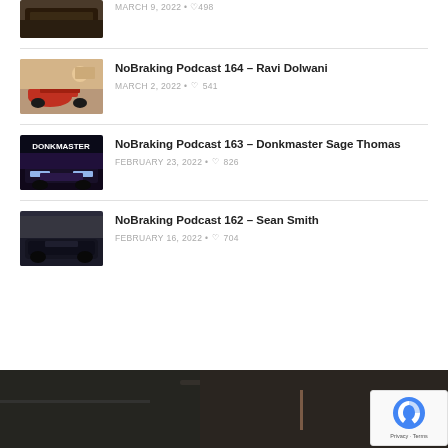[Figure (photo): Partial thumbnail of a hot rod/truck at top of page]
MARCH 9, 2022 • ♡498
[Figure (photo): Red racing car / IndyCar on a desert track]
NoBraking Podcast 164 – Ravi Dolwani
MARCH 2, 2022 • ♡541
[Figure (photo): Dark car with bright headlights, 'DONKMASTER' text overlay]
NoBraking Podcast 163 – Donkmaster Sage Thomas
FEBRUARY 23, 2022 • ♡826
[Figure (photo): Black classic car (Chevrolet) on dark background]
NoBraking Podcast 162 – Sean Smith
FEBRUARY 16, 2022 • ♡704
[Figure (photo): Dark car interior/exterior photo at bottom of page]
[Figure (other): reCAPTCHA badge with Privacy and Terms links]